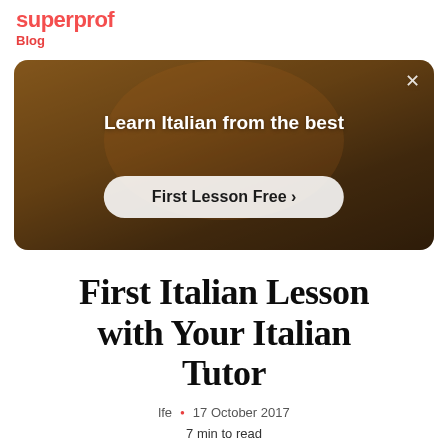superprof
Blog
[Figure (screenshot): Advertisement banner with a person in a room, text 'Learn Italian from the best' and a 'First Lesson Free >' button, with an X close button in the top-right corner.]
First Italian Lesson with Your Italian Tutor
lfe  •  17 October 2017
7 min to read